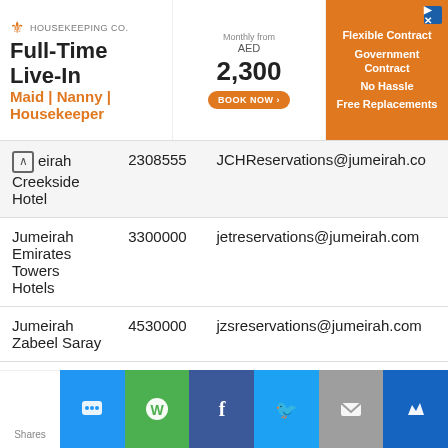[Figure (infographic): Housekeeping Co advertisement banner: Full-Time Live-In Maid | Nanny | Housekeeper, AED 2,300 per month, Flexible Contract, Government Contract, No Hassle, Free Replacements]
| Hotel Name | Phone | Email |
| --- | --- | --- |
| Jumeirah Creekside Hotel | 2308555 | JCHReservations@jumeirah.co... |
| Jumeirah Emirates Towers Hotels | 3300000 | jetreservations@jumeirah.com |
| Jumeirah Zabeel Saray | 4530000 | jzsreservations@jumeirah.com |
| JW Marriott Marquis Hotel | 4140000 | mhrs.dxbjw.reservation@marri... |
| Kempinski Hotel Mall of The E... | 3410000 | reservations.malloftheemirates@...m |
[Figure (infographic): Social sharing bar with buttons: SMS (blue), WhatsApp (green), Facebook (dark blue), Twitter (light blue), Email (grey), Crown (dark blue). Shows Shares count on left.]